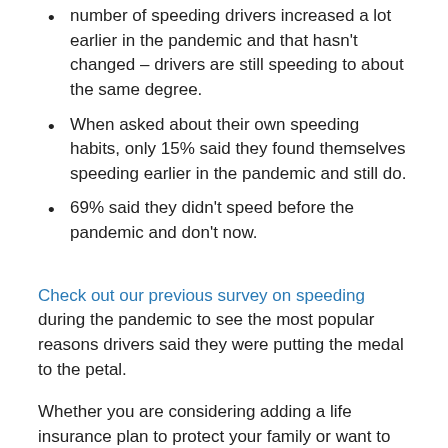number of speeding drivers increased a lot earlier in the pandemic and that hasn't changed – drivers are still speeding to about the same degree.
When asked about their own speeding habits, only 15% said they found themselves speeding earlier in the pandemic and still do.
69% said they didn't speed before the pandemic and don't now.
Check out our previous survey on speeding during the pandemic to see the most popular reasons drivers said they were putting the medal to the petal.
Whether you are considering adding a life insurance plan to protect your family or want to know more about the right coverage for you, contact us today to ask